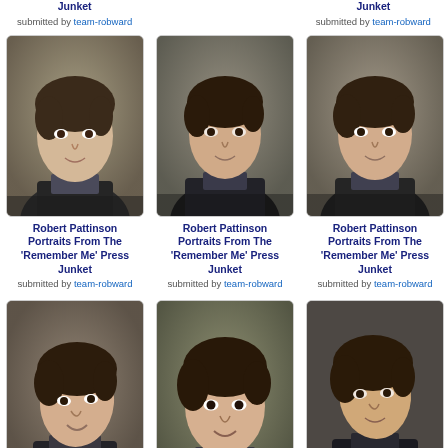[Figure (photo): Top partial row showing titles and submitted by text for two cards (left and right columns), Robert Pattinson Portraits From The 'Remember Me' Press Junket, submitted by team-robward]
[Figure (photo): Grid of 6 portrait photos of Robert Pattinson from the 'Remember Me' Press Junket, each with title and submitted by team-robward caption]
[Figure (photo): Bottom partial strip showing tops of three more portrait photos]